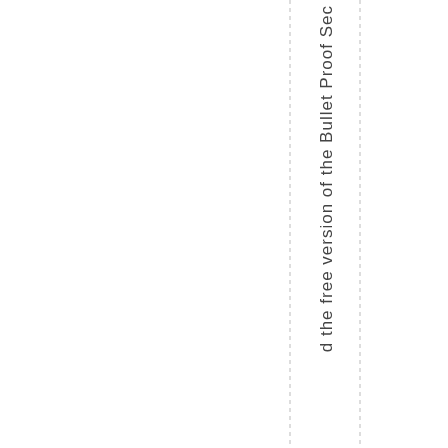d the free version of the Bullet Proof Sec